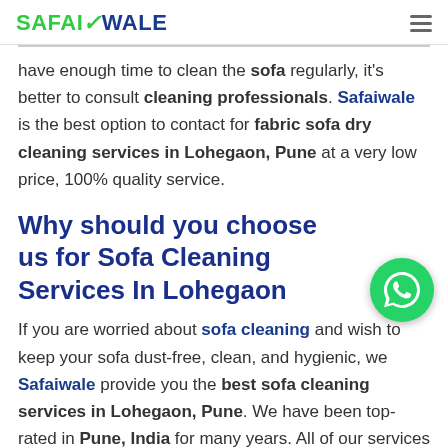SAFAIWALE [hamburger menu]
have enough time to clean the sofa regularly, it's better to consult cleaning professionals. Safaiwale is the best option to contact for fabric sofa dry cleaning services in Lohegaon, Pune at a very low price, 100% quality service.
Why should you choose us for Sofa Cleaning Services In Lohegaon
If you are worried about sofa cleaning and wish to keep your sofa dust-free, clean, and hygienic, we Safaiwale provide you the best sofa cleaning services in Lohegaon, Pune. We have been top-rated in Pune, India for many years. All of our services are performed professionally by our team of experts. Our expert cleaner would inspect your sofa and thus provide you with dirt free, spotless, and